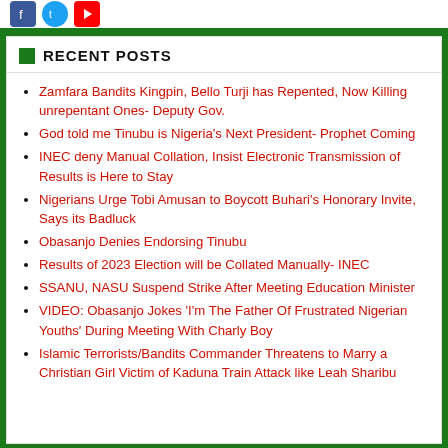RECENT POSTS
Zamfara Bandits Kingpin, Bello Turji has Repented, Now Killing unrepentant Ones- Deputy Gov.
God told me Tinubu is Nigeria's Next President- Prophet Coming
INEC deny Manual Collation, Insist Electronic Transmission of Results is Here to Stay
Nigerians Urge Tobi Amusan to Boycott Buhari's Honorary Invite, Says its Badluck
Obasanjo Denies Endorsing Tinubu
Results of 2023 Election will be Collated Manually- INEC
SSANU, NASU Suspend Strike After Meeting Education Minister
VIDEO: Obasanjo Jokes 'I'm The Father Of Frustrated Nigerian Youths' During Meeting With Charly Boy
Islamic Terrorists/Bandits Commander Threatens to Marry a Christian Girl Victim of Kaduna Train Attack like Leah Sharibu